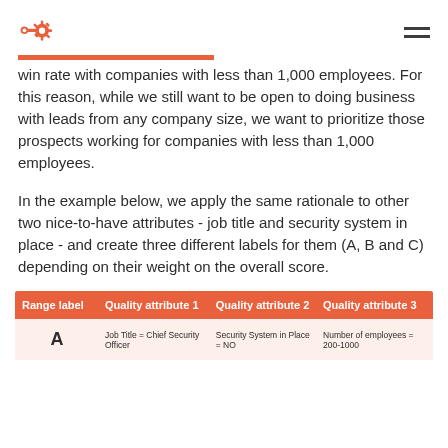HubSpot logo and navigation
win rate with companies with less than 1,000 employees. For this reason, while we still want to be open to doing business with leads from any company size, we want to prioritize those prospects working for companies with less than 1,000 employees.
In the example below, we apply the same rationale to other two nice-to-have attributes - job title and security system in place - and create three different labels for them (A, B and C) depending on their weight on the overall score.
| Range label | Quality attribute 1 | Quality attribute 2 | Quality attribute 3 |
| --- | --- | --- | --- |
| A | Job Title = Chief Security Officer | Security System in Place = NO | Number of employees = 200-1000 |